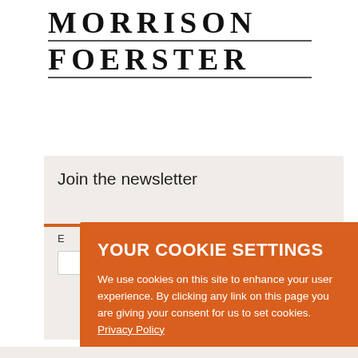[Figure (logo): Morrison Foerster law firm logo in bold serif font with horizontal rules]
Join the newsletter
E
[Figure (screenshot): Cookie consent modal overlay with orange background. Title: YOUR COOKIE SETTINGS. Body: We use cookies on this site to enhance your user experience. By clicking any link on this page you are giving your consent for us to set cookies. Privacy Policy. Buttons: YES, I ACCEPT and MORE INFORMATION]
I'm not a robot
[Figure (other): reCAPTCHA widget with checkbox, 'I'm not a robot' text, and reCAPTCHA logo with Privacy - Terms links]